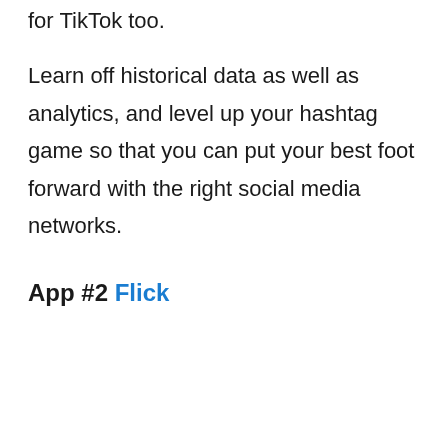for TikTok too.
Learn off historical data as well as analytics, and level up your hashtag game so that you can put your best foot forward with the right social media networks.
App #2 Flick